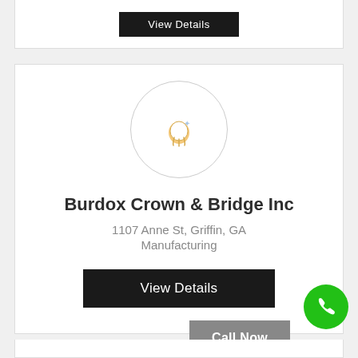[Figure (screenshot): Top partial business listing card with a dark 'View Details' button visible at top]
[Figure (logo): Circular logo placeholder with a dental/tooth icon (gold tooth with sparkle) on white background]
Burdox Crown & Bridge Inc
1107 Anne St, Griffin, GA
Manufacturing
View Details
Call Now
[Figure (illustration): Green circular FAB button with white phone/call icon]